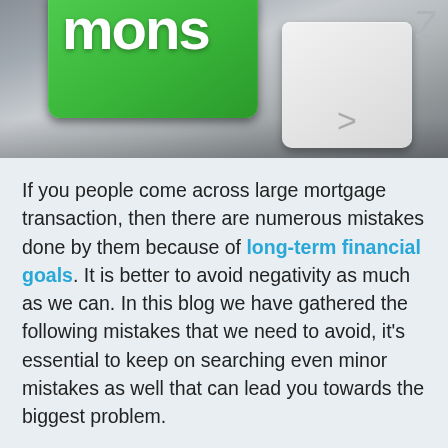[Figure (photo): Close-up of a keyboard with a green key labeled 'mons' (partial word), white keys with > symbol, and Z key visible in gray tones.]
If you people come across large mortgage transaction, then there are numerous mistakes done by them because of long-term financial goals. It is better to avoid negativity as much as we can. In this blog we have gathered the following mistakes that we need to avoid, it's essential to keep on searching even minor mistakes as well that can lead you towards the biggest problem.
Long wait for addressing credit problems
For those who want to buy a home, they don't want to wait to discover credit problems. For those who don't plan to buy a home for several months. They need to pull a credit report to see